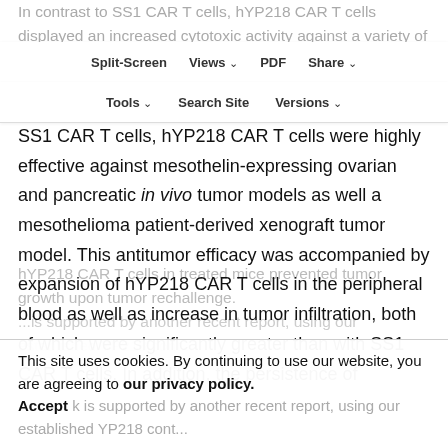In contrast to SS1 CAR T cells, hYP218 CAR T cells displayed an increased cytotoxic activity against a variety of mesothelioma-expressing cell lines as well as mesothelioma patient-derived cell lines. In comparison to SS1 CAR T cells, hYP218 CAR T cells were highly effective against mesothelin-expressing ovarian and pancreatic in vivo tumor models as well a mesothelioma patient-derived xenograft tumor model. This antitumor efficacy was accompanied by expansion of hYP218 CAR T cells in the peripheral blood as well as increase in tumor infiltration, both of which were significantly greater than with SS1 CAR T cells. In addition, the persistence of hYP218 CAR T cells in treated mice prevented tumor growth upon tumor rechallenge.
Split-Screen | Views | PDF | Share | Tools | Search Site | Versions
This site uses cookies. By continuing to use our website, you are agreeing to our privacy policy. Accept
...is supported by another recent report, using our established YP218 antibody...